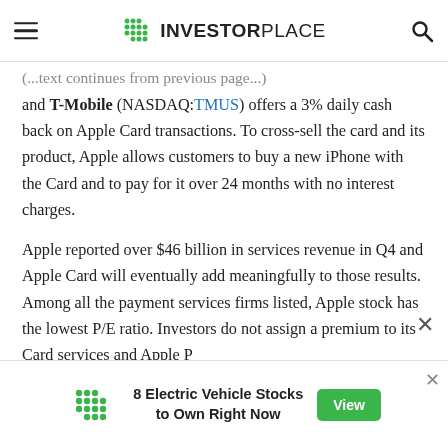INVESTORPLACE
(truncated line above)
and T-Mobile (NASDAQ:TMUS) offers a 3% daily cash back on Apple Card transactions. To cross-sell the card and its product, Apple allows customers to buy a new iPhone with the Card and to pay for it over 24 months with no interest charges.
Apple reported over $46 billion in services revenue in Q4 and Apple Card will eventually add meaningfully to those results. Among all the payment services firms listed, Apple stock has the lowest P/E ratio. Investors do not assign a premium to its Card services and Apple P...
[Figure (infographic): Advertisement banner: 8 Electric Vehicle Stocks to Own Right Now, with green View button and InvestorPlace logo]